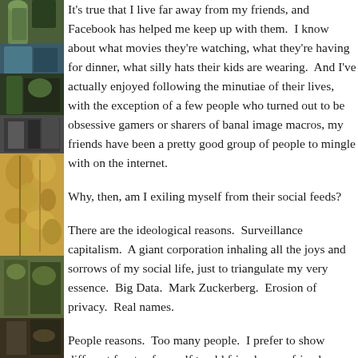[Figure (illustration): Decorative stained-glass style illustration panel on the left side of the page, showing figures and foliage in dark greens, golds, and blues.]
It's true that I live far away from my friends, and Facebook has helped me keep up with them. I know about what movies they're watching, what they're having for dinner, what silly hats their kids are wearing. And I've actually enjoyed following the minutiae of their lives, with the exception of a few people who turned out to be obsessive gamers or sharers of banal image macros, my friends have been a pretty good group of people to mingle with on the internet.
Why, then, am I exiling myself from their social feeds?
There are the ideological reasons. Surveillance capitalism. A giant corporation inhaling all the joys and sorrows of my social life, just to triangulate my very essence. Big Data. Mark Zuckerberg. Erosion of privacy. Real names.
People reasons. Too many people. I prefer to show different facets of myself to old friends, new friends, rela…